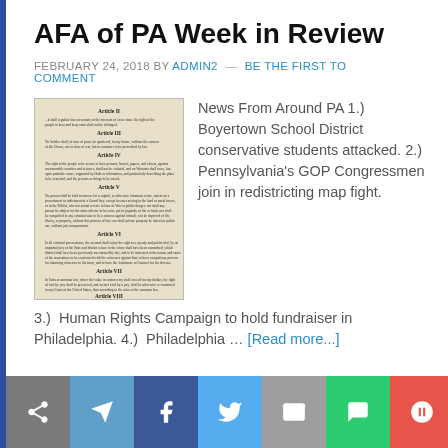AFA of PA Week in Review
FEBRUARY 24, 2018 BY ADMIN2 — BE THE FIRST TO COMMENT
[Figure (photo): Photograph of an old document showing Articles II through VII of what appears to be a historical legal or constitutional text.]
News From Around PA 1.)  Boyertown School District conservative students attacked. 2.)  Pennsylvania's GOP Congressmen join in redistricting map fight. 3.)  Human Rights Campaign to hold fundraiser in Philadelphia. 4.)  Philadelphia … [Read more...]